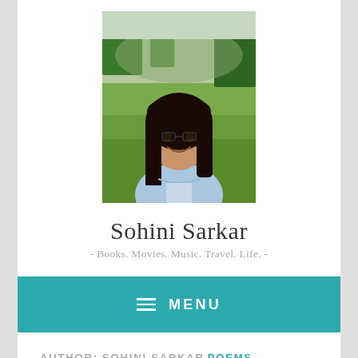[Figure (photo): Portrait photo of a young woman with long dark hair, smiling, outdoors with green field and trees in background]
Sohini Sarkar
- Books. Movies. Music. Travel. Life. -
≡ MENU
AUTHOR: SOHINI SARKAR
POEMS